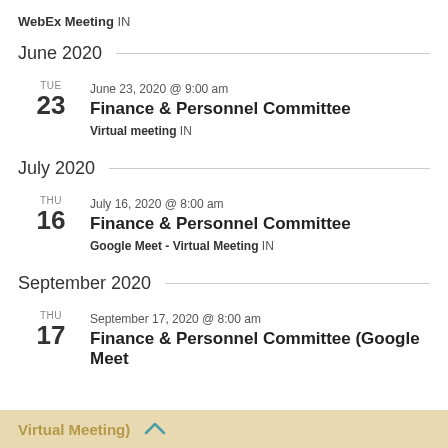WebEx Meeting IN
June 2020
June 23, 2020 @ 9:00 am
Finance & Personnel Committee
Virtual meeting IN
July 2020
July 16, 2020 @ 8:00 am
Finance & Personnel Committee
Google Meet - Virtual Meeting IN
September 2020
September 17, 2020 @ 8:00 am
Finance & Personnel Committee (Google Meet
Virtual Meeting)